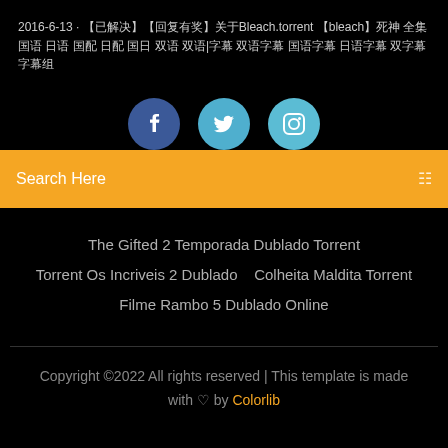2016-6-13 · 【已解决】【回复有奖】关于Bleach.torrent 【bleach】死神 全集 国语 日语 国配 日配 国日 双语 双语|字幕 双语字幕 国语字幕 日语字幕 双字幕 字幕组
[Figure (other): Three social media icon buttons: Facebook (dark blue circle), Twitter (blue circle), Instagram (light blue circle)]
Search Here
The Gifted 2 Temporada Dublado Torrent   Torrent Os Incriveis 2 Dublado   Colheita Maldita Torrent   Filme Rambo 5 Dublado Online
Copyright ©2022 All rights reserved | This template is made with ♡ by Colorlib